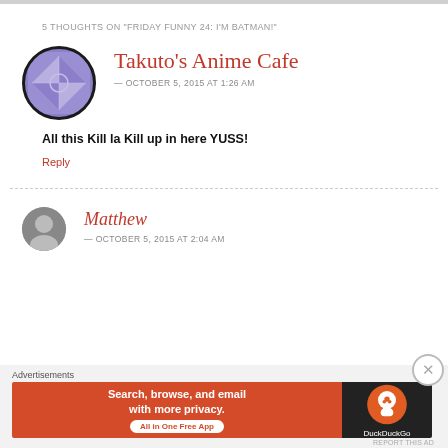5 THOUGHTS ON "FRIDAY FUNNY 24: I'M BATMAN!"
Takuto's Anime Cafe
— OCTOBER 5, 2015 AT 1:26 AM
All this Kill la Kill up in here YUSS!
Reply
Matthew
— OCTOBER 5, 2015 AT 2:04 AM
[Figure (screenshot): DuckDuckGo advertisement banner: Search, browse, and email with more privacy. All in One Free App.]